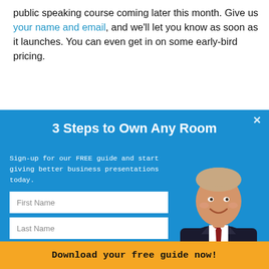public speaking course coming later this month. Give us your name and email, and we'll let you know as soon as it launches. You can even get in on some early-bird pricing.
3 Steps to Own Any Room
Sign-up for our FREE guide and start giving better business presentations today.
[Figure (photo): Professional man in dark suit and dark red tie, smiling, on blue background]
First Name
Last Name
Email
Download your free guide now!